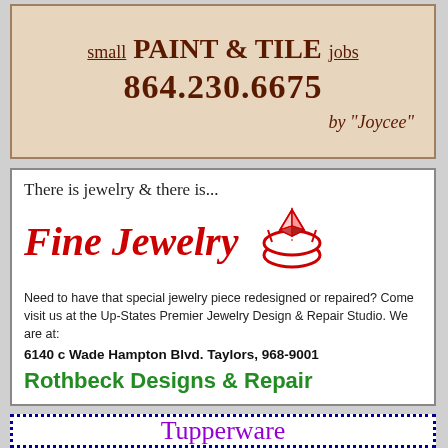[Figure (infographic): Advertisement for small Paint & Tile jobs by Joycee, phone 864.230.6675, on a beige/tan background]
[Figure (infographic): Advertisement for Fine Jewelry - Rothbeck Designs & Repair, 6140 c Wade Hampton Blvd. Taylors, 968-9001]
[Figure (infographic): Advertisement for Tupperware with blue dotted border, purple text]